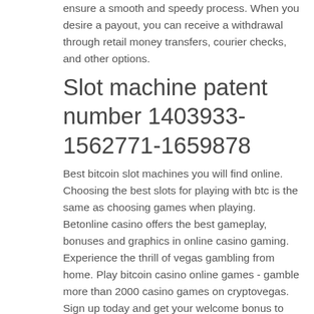ensure a smooth and speedy process. When you desire a payout, you can receive a withdrawal through retail money transfers, courier checks, and other options.
Slot machine patent number 1403933-1562771-1659878
Best bitcoin slot machines you will find online. Choosing the best slots for playing with btc is the same as choosing games when playing. Betonline casino offers the best gameplay, bonuses and graphics in online casino gaming. Experience the thrill of vegas gambling from home. Play bitcoin casino online games - gamble more than 2000 casino games on cryptovegas. Sign up today and get your welcome bonus to play with btc, eth, ltc. If you're looking to sit down at a las vegas casino table game with few complexities and a lot of james bond-style